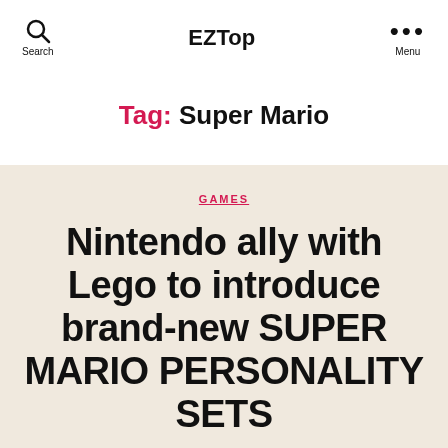EZTop
Tag: Super Mario
GAMES
Nintendo ally with Lego to introduce brand-new SUPER MARIO PERSONALITY SETS
By Jason Sum  June 20, 2022